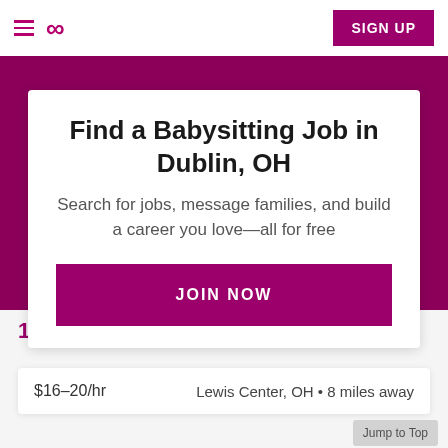Sittercity navigation bar with hamburger menu, logo, and SIGN UP button
Find a Babysitting Job in Dublin, OH
Search for jobs, message families, and build a career you love—all for free
JOIN NOW
170 Babysitting Jobs Found
$16–20/hr   Lewis Center, OH • 8 miles away